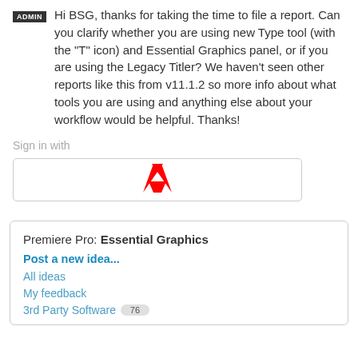Hi BSG, thanks for taking the time to file a report. Can you clarify whether you are using new Type tool (with the "T" icon) and Essential Graphics panel, or if you are using the Legacy Titler? We haven't seen other reports like this from v11.1.2 so more info about what tools you are using and anything else about your workflow would be helpful. Thanks!
Sign in with
[Figure (logo): Adobe logo sign-in button with red Adobe 'A' logo mark inside a bordered rectangle]
Premiere Pro: Essential Graphics
Post a new idea...
All ideas
My feedback
3rd Party Software 76